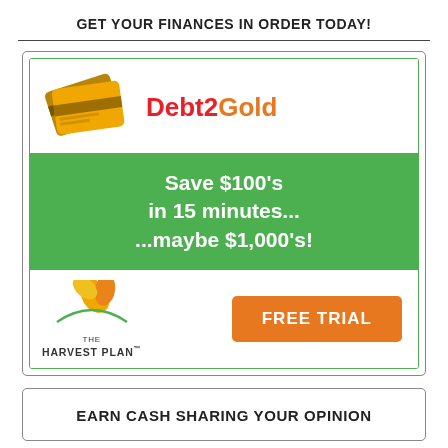GET YOUR FINANCES IN ORDER TODAY!
[Figure (infographic): Debt2Gold advertisement with credit card icon logo, green banner reading 'Save $100's in 15 minutes... ...maybe $1,000's!', The Harvest Plan logo with leaf icon, and orange FREE TRIAL button]
EARN CASH SHARING YOUR OPINION